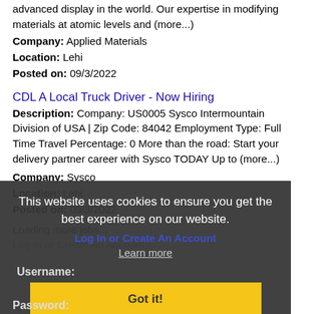advanced display in the world. Our expertise in modifying materials at atomic levels and (more...)
Company: Applied Materials
Location: Lehi
Posted on: 09/3/2022
CDL A Local Truck Driver - Now Hiring
Description: Company: US0005 Sysco Intermountain Division of USA | Zip Code: 84042 Employment Type: Full Time Travel Percentage: 0 More than the road: Start your delivery partner career with Sysco TODAY Up to (more...)
Company: Sysco
Location: Lehi
Posted on: 09/3/2022
Loading more jobs...
This website uses cookies to ensure you get the best experience on our website.
Log In or Create An Account
Learn more
Username:
Got it!
Password: